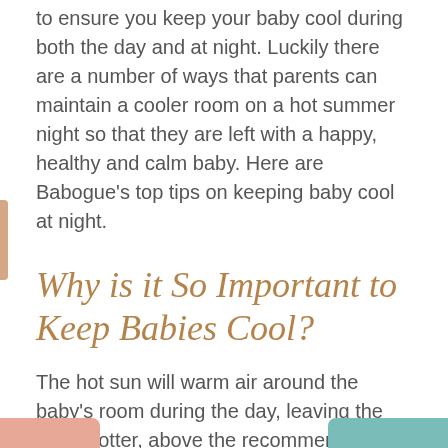to ensure you keep your baby cool during both the day and at night. Luckily there are a number of ways that parents can maintain a cooler room on a hot summer night so that they are left with a happy, healthy and calm baby. Here are Babogue's top tips on keeping baby cool at night.
Why is it So Important to Keep Babies Cool?
The hot sun will warm air around the baby's room during the day, leaving the room hotter, above the recommended temperature for both young and older babies. The baby's room should always be at a temperature within 18 to 22°C (64 to 71°F), but during the hot weather, the room